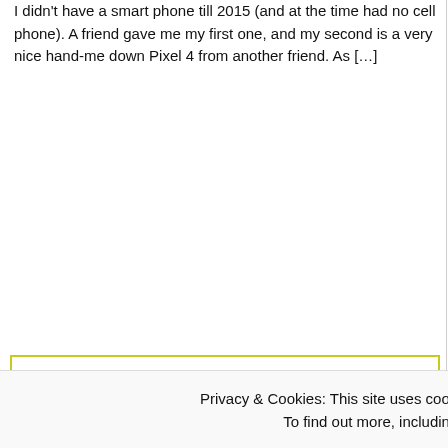I didn't have a smart phone till 2015 (and at the time had no cell phone). A friend gave me my first one, and my second is a very nice hand-me down Pixel 4 from another friend. As […]
not, a much better idea would be to give the polls.
Advertisements
[Figure (screenshot): Jetpack WordPress plugin advertisement - green background with Jetpack logo, headline 'The best re WordPress plugin', and 'Back up your' button]
Top Posts
A preview of restoring meaning in a world gone mad
Trump's in a tight spot
Deplorable Fascists
Afternoon Silliness and a reminder
Privacy & Cookies: This site uses cookies. By continuing to use this website, you agree to their use.
To find out more, including how to control cookies, see here: Cookie Policy
Close and accept